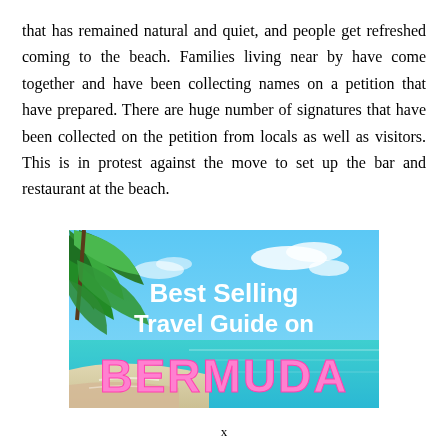that has remained natural and quiet, and people get refreshed coming to the beach. Families living near by have come together and have been collecting names on a petition that have prepared. There are huge number of signatures that have been collected on the petition from locals as well as visitors. This is in protest against the move to set up the bar and restaurant at the beach.
[Figure (illustration): Advertisement banner for a travel guide on Bermuda. Beach scene with turquoise water, blue sky, tropical tree leaves in upper left. White bold text reads 'Best Selling Travel Guide on' and large pink outlined text reads 'BERMUDA'.]
x